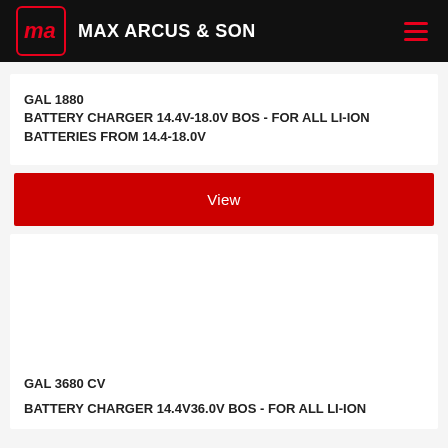MAX ARCUS & SON
GAL 1880
BATTERY CHARGER 14.4V-18.0V BOS - FOR ALL LI-ION BATTERIES FROM 14.4-18.0V
View
GAL 3680 CV
BATTERY CHARGER 14.4V36.0V BOS - FOR ALL LI-ION